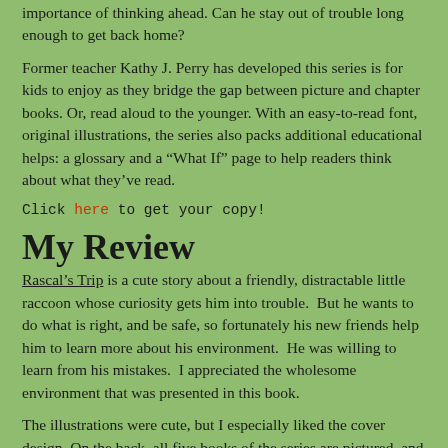Buddies to help him learn the importance of thinking ahead. Can he stay out of trouble long enough to get back home?
Former teacher Kathy J. Perry has developed this series is for kids to enjoy as they bridge the gap between picture and chapter books. Or, read aloud to the younger. With an easy-to-read font, original illustrations, the series also packs additional educational helps: a glossary and a “What If” page to help readers think about what they’ve read.
Click here to get your copy!
My Review
Rascal’s Trip is a cute story about a friendly, distractable little raccoon whose curiosity gets him into trouble. But he wants to do what is right, and be safe, so fortunately his new friends help him to learn more about his environment. He was willing to learn from his mistakes. I appreciated the wholesome environment that was presented in this book.
The illustrations were cute, but I especially liked the cover design. On the back, all five books of the series are pictured, and it’s a